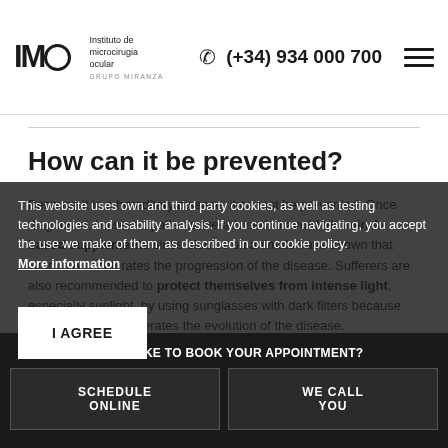IMO Instituto de microcirugia ocular GRUPO MIRANZA | (+34) 934 000 700
How can it be prevented?
Because it is a hereditary disease, it cannot be prevented. Once diagnosed, however, patients are advised to avoid vitamin A-based supplements since studies on animals have shown that vitamin A accelerates the progression of the disease. Sufferers are also recommended to protect themselves from intense light, especially sunlight, by using sunglasses with dark filters because light exposure accelerates the evolution of the disease.
This website uses own and third party cookies, as well as testing technologies and usability analysis. If you continue navigating, you accept the use we make of them, as described in our cookie policy. More information
I AGREE
HOW WOULD YOU LIKE TO BOOK YOUR APPOINTMENT?
SCHEDULE ONLINE
WE CALL YOU